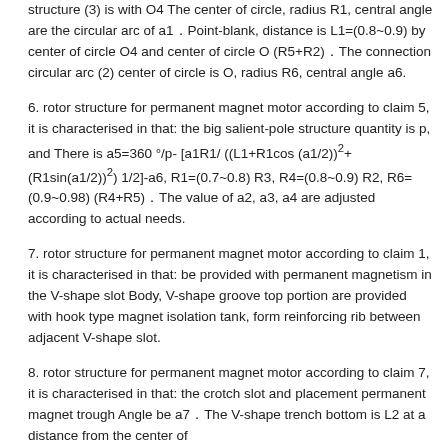structure (3) is with O4 The center of circle, radius R1, central angle are the circular arc of a1．Point-blank, distance is L1=(0.8~0.9) by center of circle O4 and center of circle O (R5+R2)．The connection circular arc (2) center of circle is O, radius R6, central angle a6.
6. rotor structure for permanent magnet motor according to claim 5, it is characterised in that: the big salient-pole structure quantity is p, and There is a5=360°/p-[a1R1/((L1+R1cos(a1/2))²+(R1sin(a1/2))²) 1/2]-a6, R1=(0.7~0.8) R3, R4=(0.8~0.9) R2, R6=(0.9~0.98) (R4+R5)．The value of a2, a3, a4 are adjusted according to actual needs.
7. rotor structure for permanent magnet motor according to claim 1, it is characterised in that: be provided with permanent magnetism in the V-shape slot Body, V-shape groove top portion are provided with hook type magnet isolation tank, form reinforcing rib between adjacent V-shape slot.
8. rotor structure for permanent magnet motor according to claim 7, it is characterised in that: the crotch slot and placement permanent magnet trough Angle be a7．The V-shape trench bottom is L2 at a distance from the center of